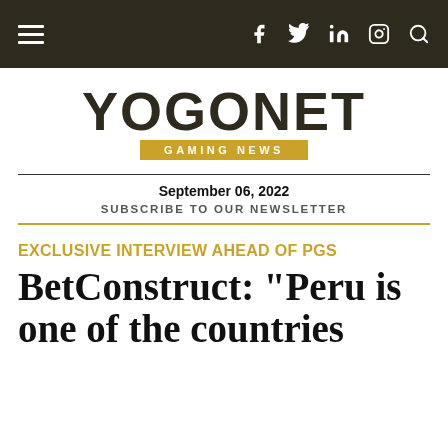YOGONET GAMING NEWS — navigation bar
[Figure (logo): YOGONET GAMING NEWS logo with dark text on white background and gold badge]
September 06, 2022
SUBSCRIBE TO OUR NEWSLETTER
EXCLUSIVE INTERVIEW AHEAD OF PGS
BetConstruct: "Peru is one of the countries